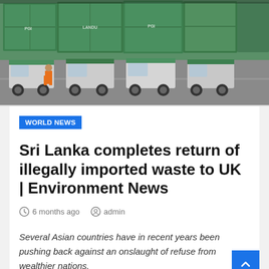[Figure (photo): Aerial/ground level view of large trucks/vehicles carrying green shipping containers at a shipping port or container yard. A worker in orange high-visibility clothing is visible on the left. Multiple large green and white containers stacked in background.]
WORLD NEWS
Sri Lanka completes return of illegally imported waste to UK | Environment News
6 months ago  admin
Several Asian countries have in recent years been pushing back against an onslaught of refuse from wealthier nations.
Sri Lanka has shipped out to the United Kingdom the last of several hundred containers filled with thousands of